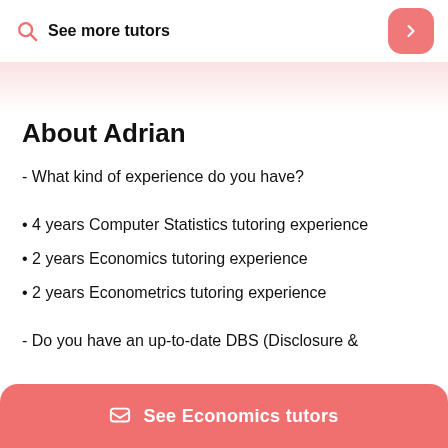See more tutors
About Adrian
- What kind of experience do you have?
• 4 years Computer Statistics tutoring experience
• 2 years Economics tutoring experience
• 2 years Econometrics tutoring experience
- Do you have an up-to-date DBS (Disclosure &
See Economics tutors